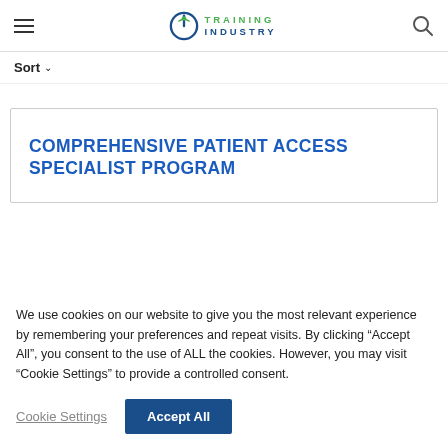Training Industry
Sort
COMPREHENSIVE PATIENT ACCESS SPECIALIST PROGRAM
We use cookies on our website to give you the most relevant experience by remembering your preferences and repeat visits. By clicking “Accept All”, you consent to the use of ALL the cookies. However, you may visit “Cookie Settings” to provide a controlled consent.
Cookie Settings
Accept All